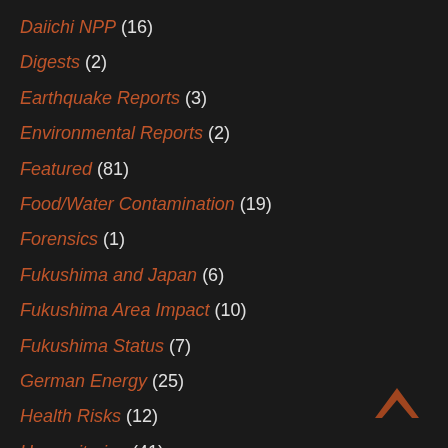Daiichi NPP (16)
Digests (2)
Earthquake Reports (3)
Environmental Reports (2)
Featured (81)
Food/Water Contamination (19)
Forensics (1)
Fukushima and Japan (6)
Fukushima Area Impact (10)
Fukushima Status (7)
German Energy (25)
Health Risks (12)
Humanitarian (41)
IAEA (4)
IAIF (1)